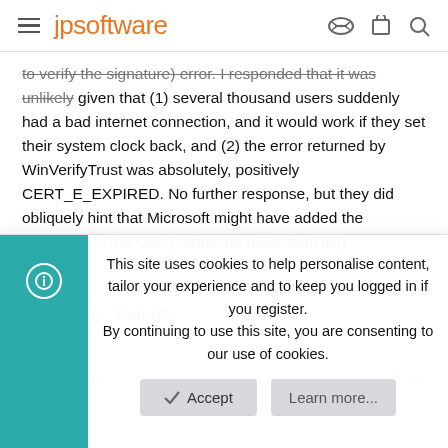jpsoftware
to verify the signature) error. I responded that it was unlikely given that (1) several thousand users suddenly had a bad internet connection, and it would work if they set their system clock back, and (2) the error returned by WinVerifyTrust was absolutely, positively CERT_E_EXPIRED. No further response, but they did obliquely hint that Microsoft might have added the certificate to the CRL (certificate revocation list).
PeterR
Mar 14, 2018   #2
This site uses cookies to help personalise content, tailor your experience and to keep you logged in if you register.
By continuing to use this site, you are consenting to our use of cookies.